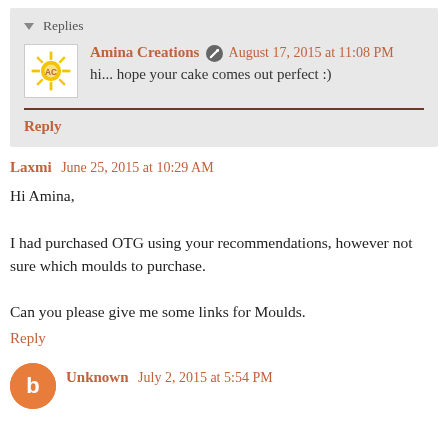Replies
Amina Creations  August 17, 2015 at 11:08 PM
hi... hope your cake comes out perfect :)
Reply
Laxmi  June 25, 2015 at 10:29 AM
Hi Amina,

I had purchased OTG using your recommendations, however not sure which moulds to purchase.

Can you please give me some links for Moulds.
Reply
Unknown  July 2, 2015 at 5:54 PM